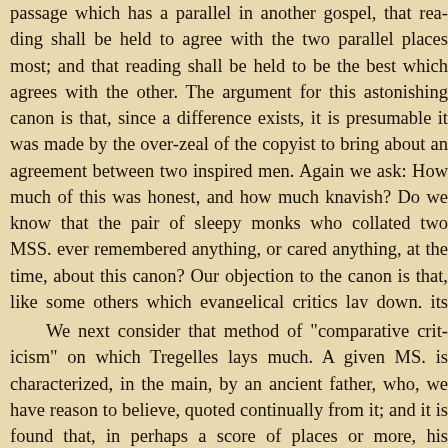passage which has a parallel in another gospel, that reading shall be held to agree with the two parallel places most; and that reading shall be held to be the best which agrees with the other. The argument for this astonishing canon is that, since a difference exists, it is presumable it was made by the over-zeal of the copyist to bring about an agreement between two inspired men. Again we ask: How much of this was honest, and how much knavish? Do we know that the pair of sleepy monks who collated two MSS. ever remembered anything, or cared anything, at the time, about this canon? Our objection to the canon is that, like some others which evangelical critics lay down, its whole probability is grounded in the assumption that the evangelists wrote independently on the Christian hypothesis, that the scenes of our Saviour's life were full of variety, and that the several evangelists were inspired of God to select different portions — which obviously appear to us the most probable readings.
We next consider that method of "comparative criticism" on which Tregelles lays much. A given MS. is characterized, in the main, by a certain ancient father, who, we have reason to believe, quoted continually from it; and it is found that, in perhaps a score of places or more, his quotations agree with the readings in the old MS. in hand. This authorizes him, Tregelles says, to identify the MS. throughout with the very Testament which lay on the father's desk, and to conclude that we have in it an exact representation of the text used by that father. A moment's reflection will convince the reader that, unless we believe